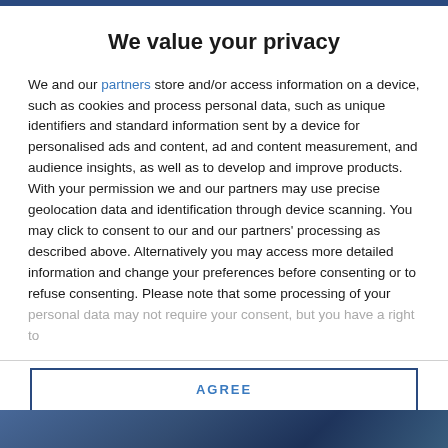We value your privacy
We and our partners store and/or access information on a device, such as cookies and process personal data, such as unique identifiers and standard information sent by a device for personalised ads and content, ad and content measurement, and audience insights, as well as to develop and improve products. With your permission we and our partners may use precise geolocation data and identification through device scanning. You may click to consent to our and our partners' processing as described above. Alternatively you may access more detailed information and change your preferences before consenting or to refuse consenting. Please note that some processing of your personal data may not require your consent, but you have a right to
AGREE
MORE OPTIONS
[Figure (photo): Dark blue toned photo at bottom of page, partially visible]